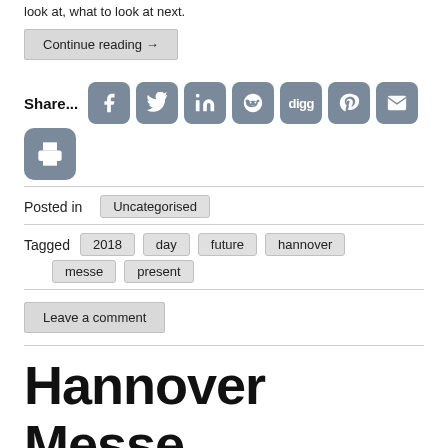look at, what to look at next.
Continue reading →
Share...
[Figure (infographic): Social share buttons: Facebook, Twitter, LinkedIn, Reddit, Digg, Pinterest, Email, Print]
Posted in  Uncategorised
Tagged  2018  day  future  hannover  messe  present
Leave a comment
Hannover Messe